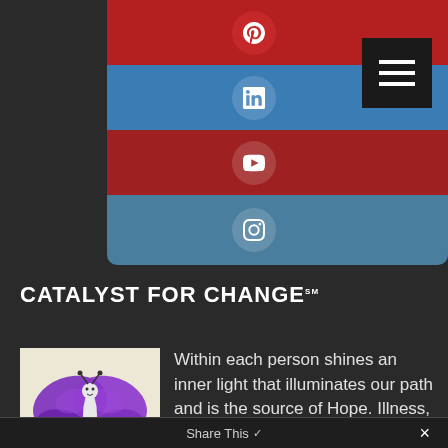[Figure (screenshot): Social media navigation bars showing Pinterest, LinkedIn, YouTube, and Instagram icons on alternating red and blue horizontal bands, with a hamburger menu button in top right corner]
CATALYST FOR CHANGE℠
[Figure (illustration): Hand-drawn illustration of a purple butterfly with a smiling face on a cream/white background]
Within each person shines an inner light that illuminates our path and is the source of Hope. Illness,
Image Credit
Elaine Boucher
Share This ✓ ×